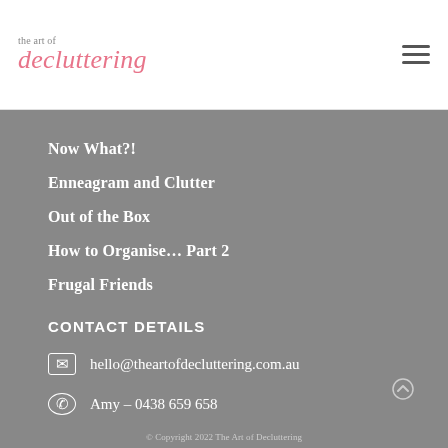the art of decluttering
Now What?!
Enneagram and Clutter
Out of the Box
How to Organise… Part 2
Frugal Friends
CONTACT DETAILS
hello@theartofdecluttering.com.au
Amy - 0438 659 658
© Copyright 2022 The Art of Decluttering